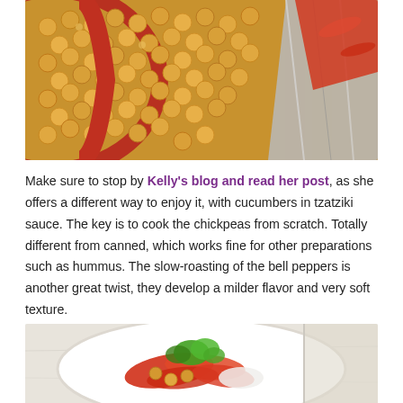[Figure (photo): A red ceramic dish filled with cooked chickpeas (garbanzo beans), golden-yellow in color, next to aluminum foil with red bell pepper strips on a wooden surface.]
Make sure to stop by Kelly's blog and read her post, as she offers a different way to enjoy it, with cucumbers in tzatziki sauce. The key is to cook the chickpeas from scratch. Totally different from canned, which works fine for other preparations such as hummus. The slow-roasting of the bell peppers is another great twist, they develop a milder flavor and very soft texture.
[Figure (photo): A white plate with slow-roasted red bell peppers and chickpeas topped with green fresh herbs (cilantro or parsley), on a marble surface.]